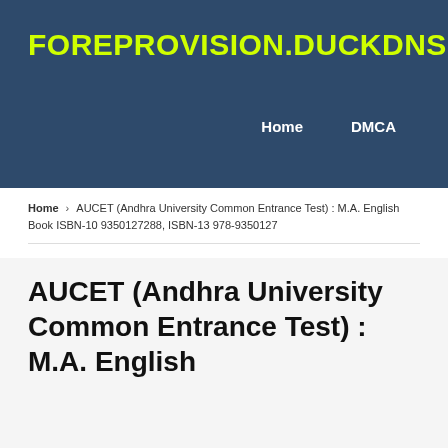FOREPROVISION.DUCKDNS.ORG
Home   DMCA
Home › AUCET (Andhra University Common Entrance Test) : M.A. English Book ISBN-10 9350127288, ISBN-13 978-9350127
AUCET (Andhra University Common Entrance Test) : M.A. English